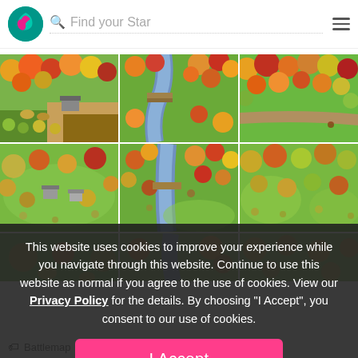Find your Star
[Figure (screenshot): 2x3 grid of top-down fantasy/RPG autumn forest battlemap tiles showing colorful trees in orange, red, yellow and green with paths, rivers and buildings]
This website uses cookies to improve your experience while you navigate through this website. Continue to use this website as normal if you agree to the use of cookies. View our Privacy Policy for the details. By choosing "I Accept", you consent to our use of cookies.
I Accept
Battlemap  Forest  Ro...  ...ional